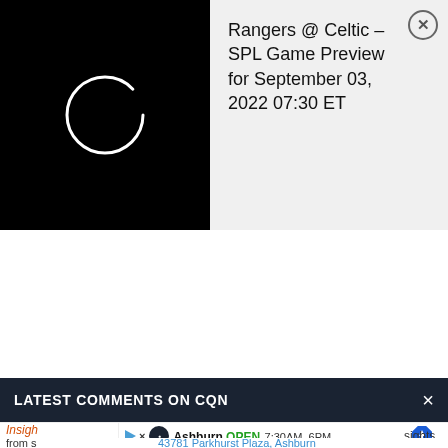[Figure (screenshot): Black video thumbnail with white loading spinner circle on left side of notification card]
Rangers @ Celtic – SPL Game Preview for September 03, 2022 07:30 ET
LATEST COMMENTS ON CQN
Insigh from s
[Figure (screenshot): Advertisement overlay: Driverauto logo, Ashburn, OPEN 7:30AM–6PM, 43781 Parkhurst Plaza, Ashburn, with blue navigation arrow icon]
sights